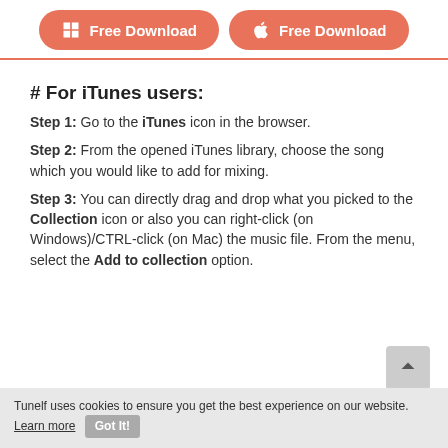Free Download (Windows) | Free Download (Mac)
# For iTunes users:
Step 1: Go to the iTunes icon in the browser.
Step 2: From the opened iTunes library, choose the song which you would like to add for mixing.
Step 3: You can directly drag and drop what you picked to the Collection icon or also you can right-click (on Windows)/CTRL-click (on Mac) the music file. From the menu, select the Add to collection option.
Tunelf uses cookies to ensure you get the best experience on our website. Learn more Got It!